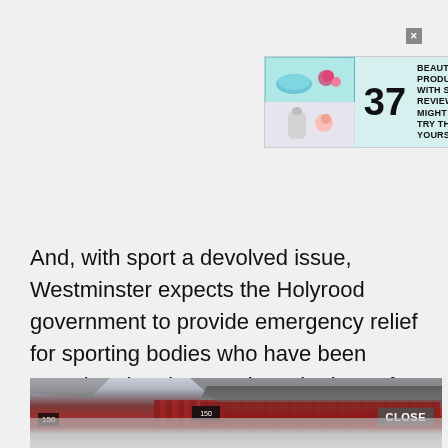[Figure (other): Advertisement banner for '37 Beauty Products With Such Good Reviews You Might Want To Try Them Yourself' from 22 Words, with beauty product images on the left]
And, with sport a devolved issue, Westminster expects the Holyrood government to provide emergency relief for sporting bodies who have been enacting drastic cuts since the loss of gate income.
[Figure (photo): Stadium interior photo showing red seats and AFC branding, with a CLOSE button overlay in the bottom right]